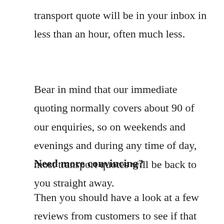transport quote will be in your inbox in less than an hour, often much less.
Bear in mind that our immediate quoting normally covers about 90 of our enquiries, so on weekends and evenings and during any time of day, most transport quotes will be back to you straight away.
Need more convincing?
Then you should have a look at a few reviews from customers to see if that can convince you.